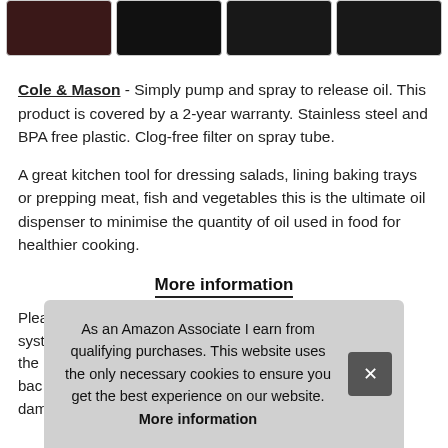[Figure (photo): Four product thumbnail images in a horizontal strip showing oil sprayer product from various angles against dark backgrounds]
Cole & Mason - Simply pump and spray to release oil. This product is covered by a 2-year warranty. Stainless steel and BPA free plastic. Clog-free filter on spray tube.
A great kitchen tool for dressing salads, lining baking trays or prepping meat, fish and vegetables this is the ultimate oil dispenser to minimise the quantity of oil used in food for healthier cooking.
More information
Plea... syst... the... bac... damage from misuse are not covered.
As an Amazon Associate I earn from qualifying purchases. This website uses the only necessary cookies to ensure you get the best experience on our website. More information